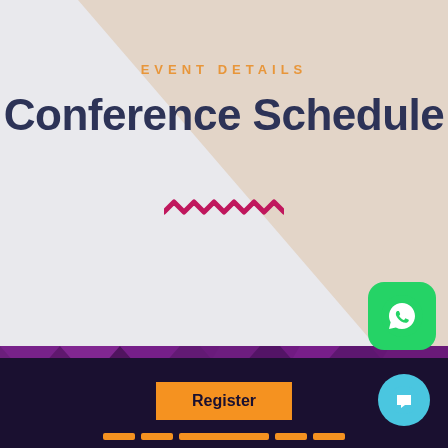EVENT DETAILS
Conference Schedule
[Figure (illustration): Pink zigzag/wavy decorative line element]
[Figure (logo): WhatsApp logo button (green rounded square with white phone icon)]
[Figure (illustration): Purple geometric polygon strip background]
Register
[Figure (illustration): Orange navigation pill bar with Register button]
[Figure (illustration): Cyan chat bubble button]